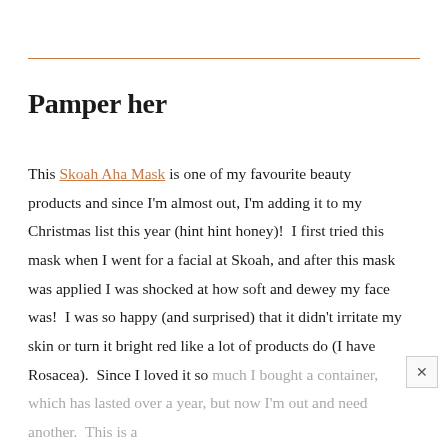Pamper her
This Skoah Aha Mask is one of my favourite beauty products and since I'm almost out, I'm adding it to my Christmas list this year (hint hint honey)!  I first tried this mask when I went for a facial at Skoah, and after this mask was applied I was shocked at how soft and dewey my face was!  I was so happy (and surprised) that it didn't irritate my skin or turn it bright red like a lot of products do (I have Rosacea).  Since I loved it so much I bought a container, which has lasted over a year, but now I'm out and need another.  This is a